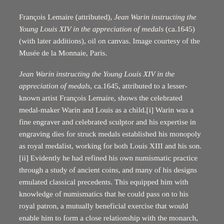François Lemaire (attributed), Jean Warin instructing the Young Louis XIV in the appreciation of medals (ca.1645) (with later additions), oil on canvas. Image courtesy of the Musée de la Monnaie, Paris.
Jean Warin instructing the Young Louis XIV in the appreciation of medals, ca.1645, attributed to a lesser-known artist François Lemaire, shows the celebrated medal-maker Warin and Louis as a child.[i] Warin was a fine engraver and celebrated sculptor and his expertise in engraving dies for struck medals established his monopoly as royal medalist, working for both Louis XIII and his son.[ii] Evidently he had refined his own numismatic practice through a study of ancient coins, and many of his designs emulated classical precedents. This equipped him with knowledge of numismatics that he could pass on to his royal patron, a mutually beneficial exercise that would enable him to form a close relationship with the monarch, and secure the